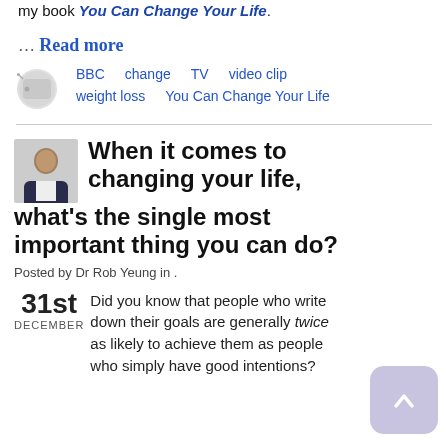my book You Can Change Your Life.
… Read more
BBC   change   TV   video clip   weight loss   You Can Change Your Life
When it comes to changing your life, what's the single most important thing you can do?
Posted by Dr Rob Yeung in .
31st DECEMBER  Did you know that people who write down their goals are generally twice as likely to achieve them as people who simply have good intentions?